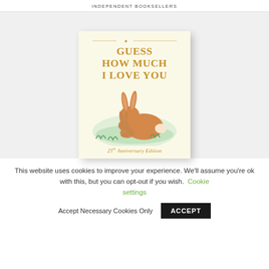INDEPENDENT BOOKSELLERS
[Figure (illustration): Book cover of 'Guess How Much I Love You – 25th Anniversary Edition' showing two rabbits (a large and small one) nestled together on a cream background with gold serif title text and decorative elements.]
This website uses cookies to improve your experience. We'll assume you're ok with this, but you can opt-out if you wish. Cookie settings  Accept Necessary Cookies Only  ACCEPT